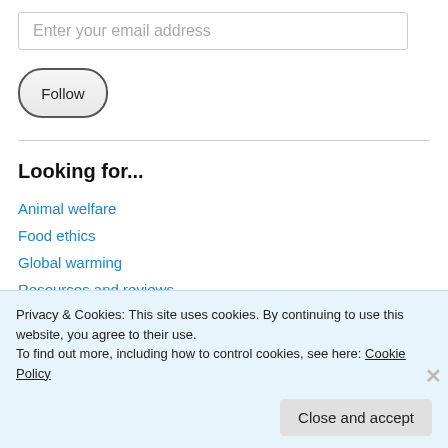Enter your email address
Follow
Looking for...
Animal welfare
Food ethics
Global warming
Resources and reviews
Book reviews
Privacy & Cookies: This site uses cookies. By continuing to use this website, you agree to their use.
To find out more, including how to control cookies, see here: Cookie Policy
Close and accept